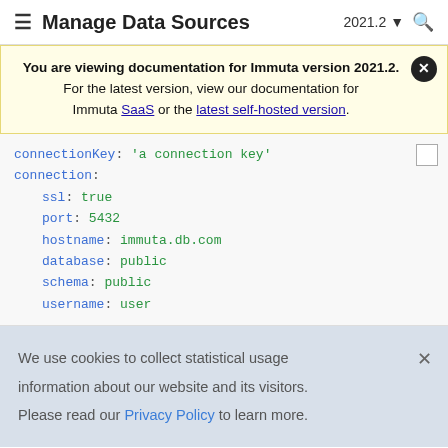≡ Manage Data Sources   2021.2 ▾  🔍
You are viewing documentation for Immuta version 2021.2. For the latest version, view our documentation for Immuta SaaS or the latest self-hosted version.
connectionKey: 'a connection key'
connection:
  ssl: true
  port: 5432
  hostname: immuta.db.com
  database: public
  schema: public
  username: user
We use cookies to collect statistical usage information about our website and its visitors. Please read our Privacy Policy to learn more.